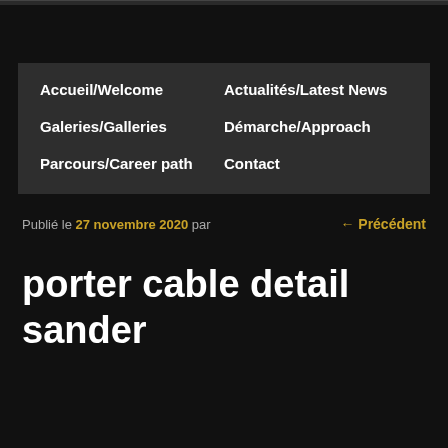Accueil/Welcome
Actualités/Latest News
Galeries/Galleries
Démarche/Approach
Parcours/Career path
Contact
Publié le 27 novembre 2020 par
← Précédent
porter cable detail sander